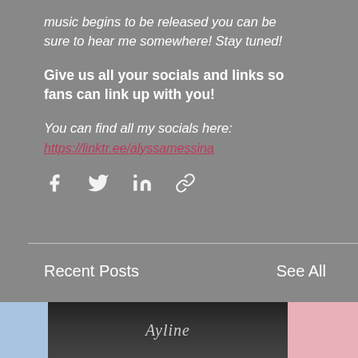music begins to be released you can be sure to hear me somewhere! Stay tuned!
Give us all your socials and links so fans can link up with you!
You can find all my socials here:
https://linktr.ee/alyssamessina
[Figure (infographic): Social share icons: Facebook, Twitter, LinkedIn, and link icon]
Recent Posts
See All
[Figure (photo): Three thumbnail images in a row: a blue-tinted image on the left, a dark concert/performer photo in the center with script text overlay, and a pink-tinted image on the right]